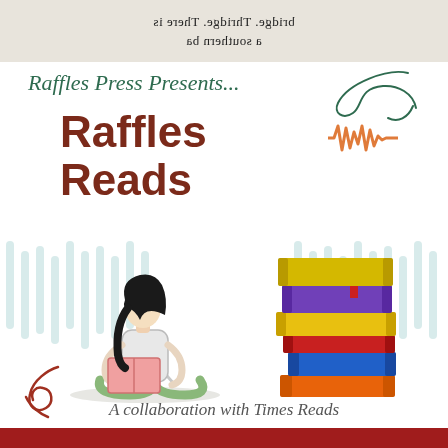[Figure (illustration): Top banner showing mirrored/upside-down newspaper text in grey background, including words 'bridge', 'Thbridge', 'There is', 'a southern ba']
Raffles Press Presents...
Raffles Reads
[Figure (illustration): Illustration of a girl sitting cross-legged reading a pink book, with a stack of colorful books beside her (yellow, purple, red, orange, blue). Teal vertical stripe patterns in background. A decorative dark green swirl top right and a red-brown swirl bottom left.]
A collaboration with Times Reads